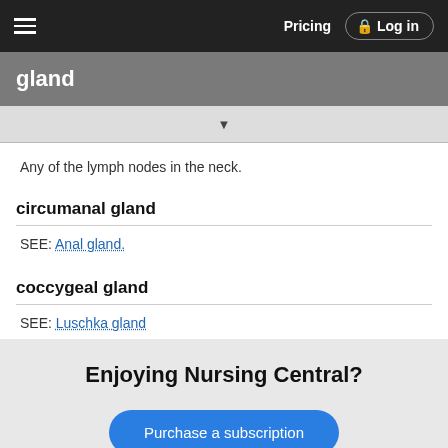gland
Any of the lymph nodes in the neck.
circumanal gland
SEE: Anal gland.
coccygeal gland
SEE: Luschka gland
Enjoying Nursing Central?
Purchase a subscription
I'm already a subscriber